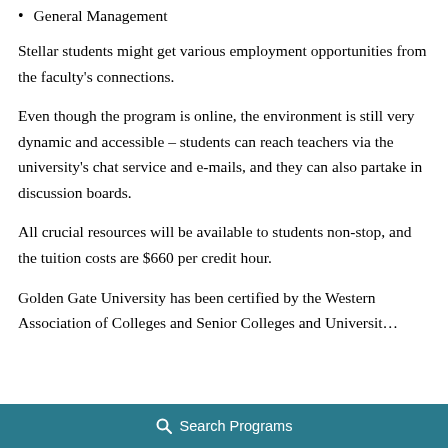General Management
Stellar students might get various employment opportunities from the faculty's connections.
Even though the program is online, the environment is still very dynamic and accessible – students can reach teachers via the university's chat service and e-mails, and they can also partake in discussion boards.
All crucial resources will be available to students non-stop, and the tuition costs are $660 per credit hour.
Golden Gate University has been certified by the Western Association of Colleges and Senior Colleges and Universities
🔍 Search Programs